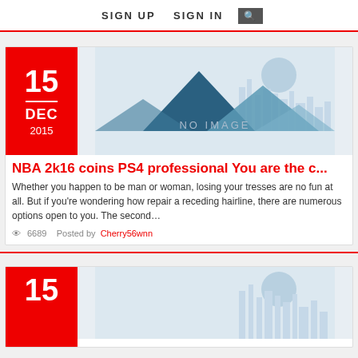SIGN UP   SIGN IN   [search]
[Figure (illustration): No image placeholder with mountain/cityscape silhouette illustration in blue-grey tones]
NBA 2k16 coins PS4 professional You are the c...
Whether you happen to be man or woman, losing your tresses are no fun at all. But if you're wondering how repair a receding hairline, there are numerous options open to you. The second…
👁 6689   Posted by Cherry56wnn
[Figure (illustration): Second card partial view — No image placeholder with partial cityscape illustration]